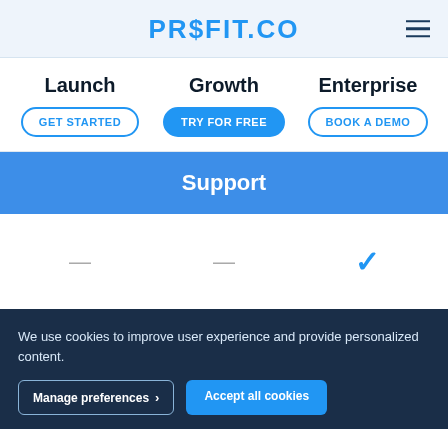PROFIT.CO
Launch | Growth | Enterprise
GET STARTED | TRY FOR FREE | BOOK A DEMO
Support
— | — | ✓
We use cookies to improve user experience and provide personalized content.
Manage preferences | Accept all cookies